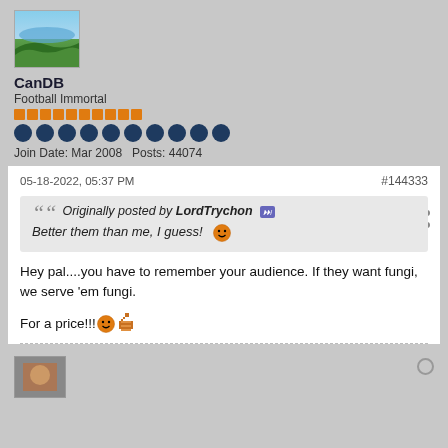[Figure (photo): Avatar image of user CanDB showing aerial landscape view]
CanDB
Football Immortal
Reputation pips (orange bars)
Dark blue dot row (10 dots)
Join Date: Mar 2008   Posts: 44074
05-18-2022, 05:37 PM
#144333
Originally posted by LordTrychon
Better them than me, I guess!
Hey pal....you have to remember your audience. If they want fungi, we serve 'em fungi.
For a price!!!